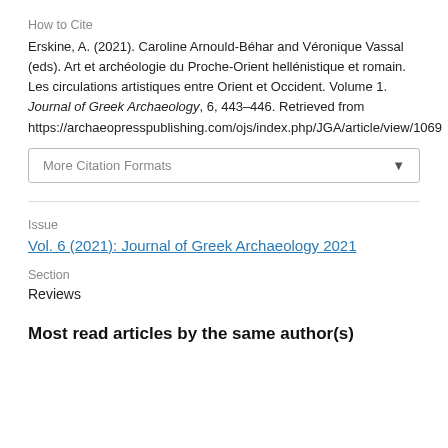How to Cite
Erskine, A. (2021). Caroline Arnould-Béhar and Véronique Vassal (eds). Art et archéologie du Proche-Orient hellénistique et romain. Les circulations artistiques entre Orient et Occident. Volume 1. Journal of Greek Archaeology, 6, 443–446. Retrieved from https://archaeopresspublishing.com/ojs/index.php/JGA/article/view/1069
More Citation Formats
Issue
Vol. 6 (2021): Journal of Greek Archaeology 2021
Section
Reviews
Most read articles by the same author(s)